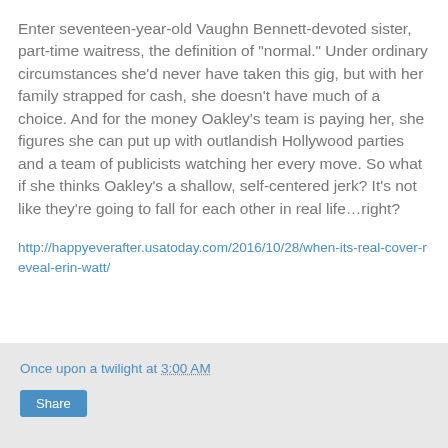Enter seventeen-year-old Vaughn Bennett-devoted sister, part-time waitress, the definition of "normal." Under ordinary circumstances she'd never have taken this gig, but with her family strapped for cash, she doesn't have much of a choice. And for the money Oakley's team is paying her, she figures she can put up with outlandish Hollywood parties and a team of publicists watching her every move. So what if she thinks Oakley's a shallow, self-centered jerk? It's not like they're going to fall for each other in real life…right?
http://happyeverafter.usatoday.com/2016/10/28/when-its-real-cover-reveal-erin-watt/
Once upon a twilight at 3:00 AM  Share